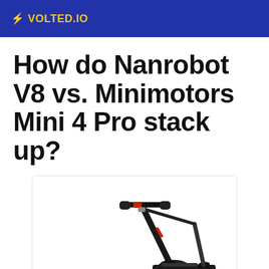⚡ VOLTED.IO
How do Nanrobot V8 vs. Minimotors Mini 4 Pro stack up?
[Figure (photo): Photo of an electric scooter (black with red accents), shown at an angle against a white background, inside a rounded-corner card.]